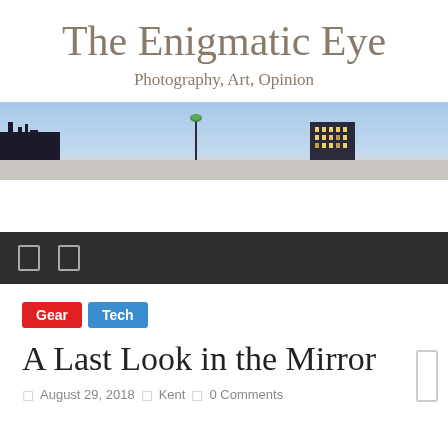The Enigmatic Eye
Photography, Art, Opinion
[Figure (photo): Wide panoramic cityscape banner at dusk/dawn showing city skyline silhouette with a street lamp and tall building against a blue-pink sky]
Navigation bar with two icon buttons
Gear
Tech
A Last Look in the Mirror
August 29, 2018   Kent   0 Comments